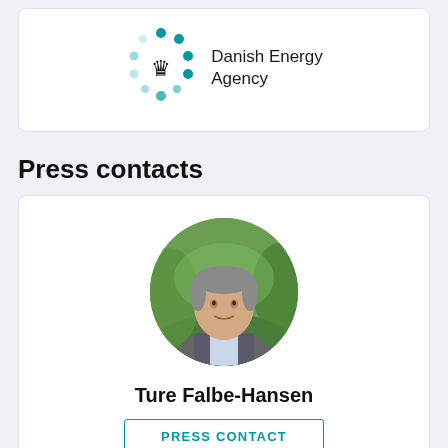[Figure (logo): Danish Energy Agency logo with teal dots arranged in a circular pattern and a crown icon, followed by the text 'Danish Energy Agency']
Press contacts
[Figure (photo): Circular portrait photo of Ture Falbe-Hansen, a man with grey hair wearing a grey blazer, outdoor greenery background]
Ture Falbe-Hansen
PRESS CONTACT
Head of Media Relations